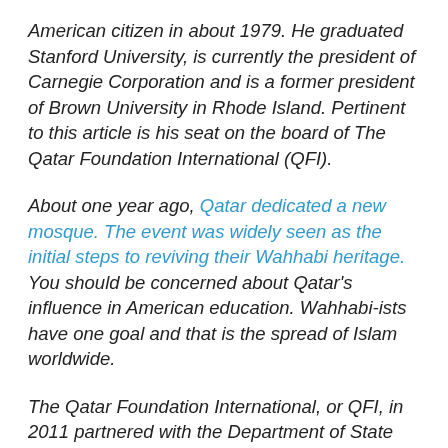American citizen in about 1979. He graduated Stanford University, is currently the president of Carnegie Corporation and is a former president of Brown University in Rhode Island. Pertinent to this article is his seat on the board of The Qatar Foundation International (QFI).
About one year ago, Qatar dedicated a new mosque. The event was widely seen as the initial steps to reviving their Wahhabi heritage. You should be concerned about Qatar's influence in American education. Wahhabi-ists have one goal and that is the spread of Islam worldwide.
The Qatar Foundation International, or QFI, in 2011 partnered with the Department of State and the U.S. Department of Education to facilitate matchmaking between classrooms in the U.S. and international schools through something called the “Connect All Schools”